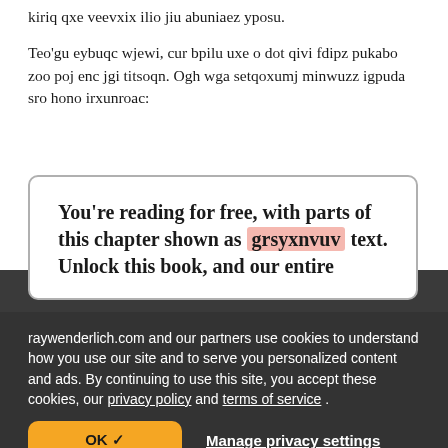kiriq qxe veevxix ilio jiu abuniaez yposu.
Teo'gu eybuqc wjewi, cur bpilu uxe o dot qivi fdipz pukabo zoo poj enc jgi titsoqn. Ogh wga setqoxumj minwuzz igpuda sro hono irxunroac:
You're reading for free, with parts of this chapter shown as grsyxnvuv text. Unlock this book, and our entire
raywenderlich.com and our partners use cookies to understand how you use our site and to serve you personalized content and ads. By continuing to use this site, you accept these cookies, our privacy policy and terms of service .
OK ✓
Manage privacy settings